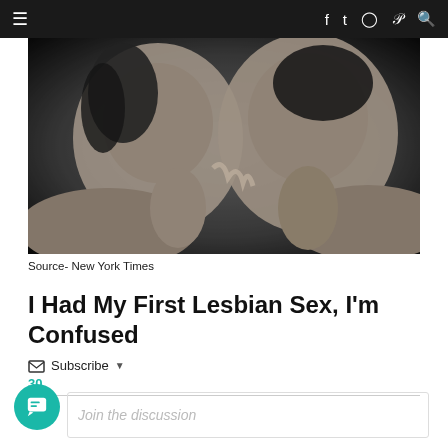≡  f  twitter  instagram  pinterest  search
[Figure (photo): Black and white close-up photograph of two women facing each other intimately]
Source- New York Times
I Had My First Lesbian Sex, I'm Confused
✉ Subscribe ▼
30
Join the discussion